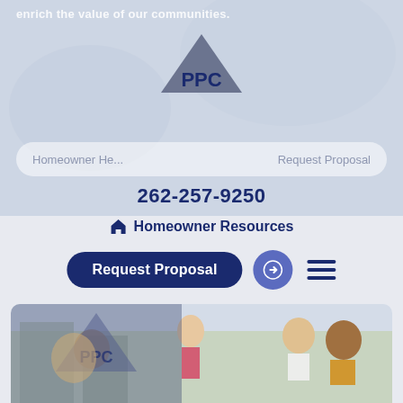[Figure (screenshot): PPC insurance website screenshot showing logo with triangle, phone number 262-257-9250, Homeowner Resources link, Request Proposal button, navigation icons, and a background photo of people at an outdoor gathering]
enrich the value of our communities.
[Figure (logo): PPC logo with downward-pointing triangle in dark blue/grey]
Homeowner He... Request Proposal
262-257-9250
Homeowner Resources
Request Proposal
[Figure (photo): People at an outdoor rooftop or patio gathering, smiling and sharing food/drinks, diverse group]